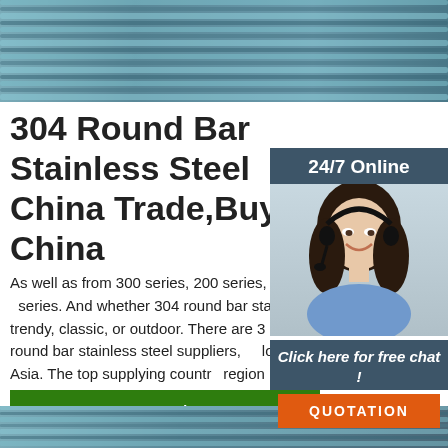[Figure (photo): Close-up photo of stainless steel round bars/rods bundled together, showing metallic gray surface texture with parallel lines]
304 Round Bar Stainless Steel China Trade,Buy China
As well as from 300 series, 200 series, and 400 series. And whether 304 round bar stainless steel is trendy, classic, or outdoor. There are 304 round bar stainless steel suppliers, mainly located in Asia. The top supplying country or region is China, which supply 100% of 304 round bar stainless steel …
[Figure (photo): Chat agent widget showing a woman with headset smiling, with 24/7 Online label, 'Click here for free chat!' text, and QUOTATION orange button]
[Figure (logo): TOP logo with orange dots arranged in triangle above the word TOP in orange]
[Figure (photo): Bottom strip showing bundled stainless steel round bars, similar to top image]